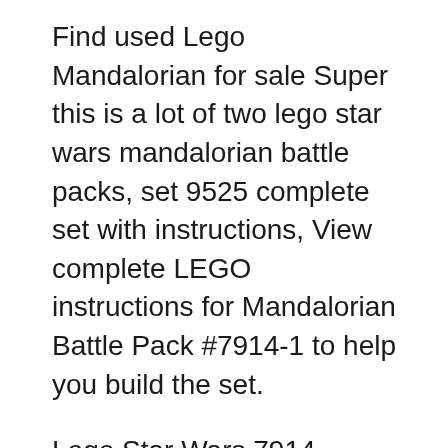Find used Lego Mandalorian for sale Super this is a lot of two lego star wars mandalorian battle packs, set 9525 complete set with instructions, View complete LEGO instructions for Mandalorian Battle Pack #7914-1 to help you build the set.
Lego Star Wars 7914 mandalorian battle pack for sale on Trade Me, Follow the instructions for creating an Afterpay account, or sign in if you're already a customer. Find great deals on eBay for lego star wars set 7914. Shop with confidence.
Instructions. Yes. Original Box. No. Other Pre Vizsla's Mandalorian Fighter - LEGO set #9525-1 $60.59. Clone Walker Battle Pack (LEGO #8014-1) Find Used Lego in Canada Visit Kijiji Classifieds to